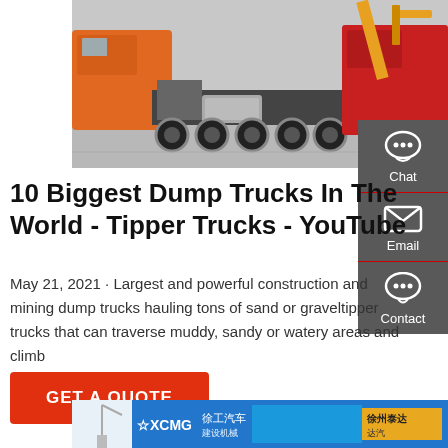[Figure (photo): Orange and red dump trucks / heavy construction trucks parked in a lot, viewed from the side showing chassis and wheels.]
10 Biggest Dump Trucks In The World - Tipper Trucks - YouTube
May 21, 2021 · Largest and powerful construction and mining dump trucks hauling tons of sand or graveltipper trucks that can traverse muddy, sandy or watery areas and climb
GET A QUOTE
[Figure (photo): Partial bottom image showing XCMG branded heavy equipment with blue and yellow banner text in Chinese.]